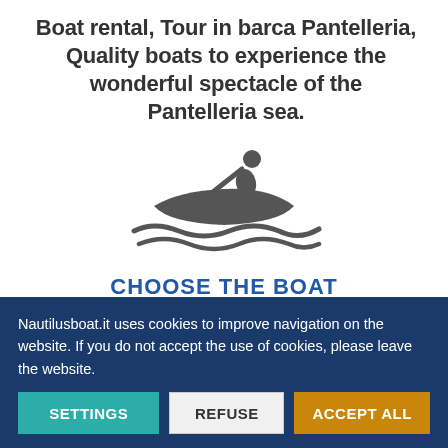Boat rental, Tour in barca Pantelleria, Quality boats to experience the wonderful spectacle of the Pantelleria sea.
[Figure (illustration): Icon of a person rowing a canoe/boat on water with wave lines beneath]
CHOOSE THE BOAT
Choose the vehicle that's right for you.
Nautilusboat.it uses cookies to improve navigation on the website. If you do not accept the use of cookies, please leave the website.
SETTINGS | REFUSE | ACCEPT ALL